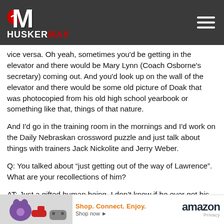[Figure (logo): HuskerMax logo with red circle and M letterform on dark gray header bar]
vice versa. Oh yeah, sometimes you'd be getting in the elevator and there would be Mary Lynn (Coach Osborne's secretary) coming out. And you'd look up on the wall of the elevator and there would be some old picture of Doak that was photocopied from his old high school yearbook or something like that, things of that nature.
And I'd go in the training room in the mornings and I'd work on the Daily Nebraskan crossword puzzle and just talk about things with trainers Jack Nickolite and Jerry Weber.
Q: You talked about “just getting out of the way of Lawrence”. What are your recollections of him?
AT: Just a gifted human being. I don’t know if he ever got his lifting card signed in the weight room, but he was a monster, years ahead of his development level physically.
Q: Wh
[Figure (other): Amazon advertisement banner with shopping items image, 'Shop. Connect. Enjoy.' tagline, 'Shop now' call to action, and Amazon logo]